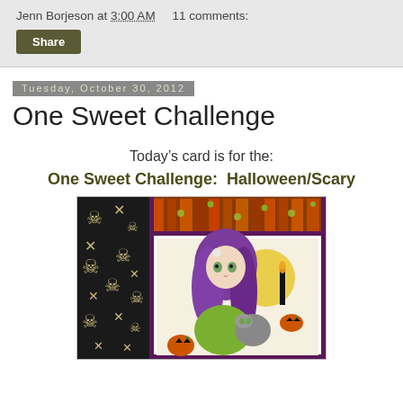Jenn Borjeson at 3:00 AM    11 comments:
Share
Tuesday, October 30, 2012
One Sweet Challenge
Today's card is for the:
One Sweet Challenge:  Halloween/Scary
[Figure (photo): Halloween-themed handmade card featuring a purple-haired anime-style fairy girl holding a gray cat, surrounded by jack-o-lanterns and candles, with a skull-and-crossbones patterned background and orange striped paper.]